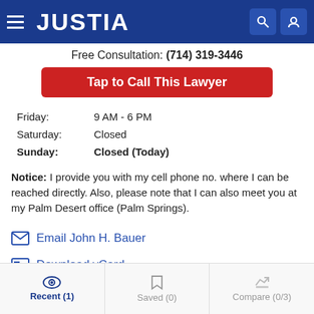[Figure (screenshot): Justia website header with hamburger menu, JUSTIA logo, search icon and user icon on dark blue background]
Free Consultation: (714) 319-3446
Tap to Call This Lawyer
Friday: 9 AM - 6 PM
Saturday: Closed
Sunday: Closed (Today)
Notice: I provide you with my cell phone no. where I can be reached directly. Also, please note that I can also meet you at my Palm Desert office (Palm Springs).
Email John H. Bauer
Download vCard
Recent (1)   Saved (0)   Compare (0/3)